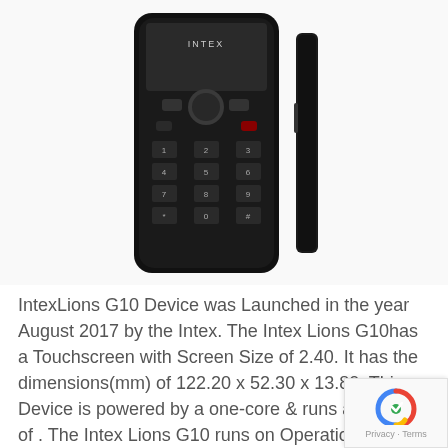[Figure (photo): Photo of Intex Lions G10 mobile phone, front and side view, black feature phone with numeric keypad]
IntexLions G10 Device was Launched in the year August 2017 by the Intex. The Intex Lions G10has a Touchscreen with Screen Size of 2.40. It has the dimensions(mm) of 122.20 x 52.30 x 13.80. This Device is powered by a one-core & runs a memory of . The Intex Lions G10 runs on Operation system of is have a ample amount of Battery capacity of 1450mAh which come as No.